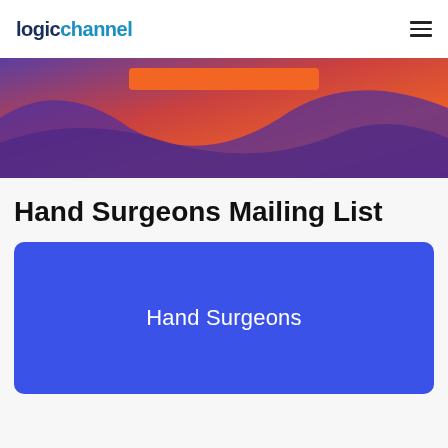logichannel
[Figure (illustration): Hero banner with gradient background of purple, orange, and red wave shapes. An orange button stub is partially visible at the top of the banner area.]
Hand Surgeons Mailing List
[Figure (infographic): Blue rounded rectangle card with white text reading 'Hand Surgeons']